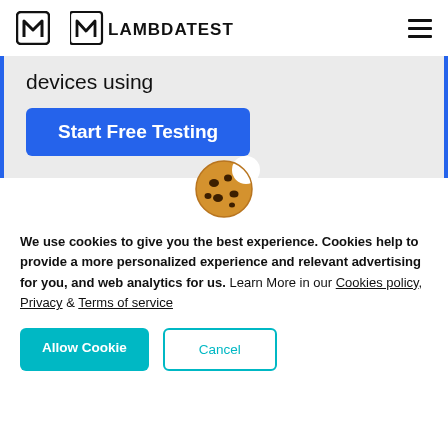LAMBDATEST
devices using
Start Free Testing
[Figure (illustration): Cookie emoji icon - a brown cookie with chocolate chips and a bite taken out]
We use cookies to give you the best experience. Cookies help to provide a more personalized experience and relevant advertising for you, and web analytics for us. Learn More in our Cookies policy, Privacy & Terms of service
Allow Cookie
Cancel